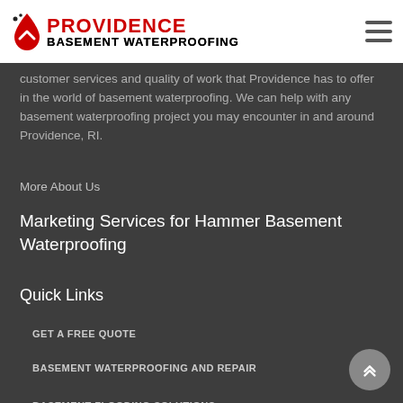Providence Basement Waterproofing
customer services and quality of work that Providence has to offer in the world of basement waterproofing. We can help with any basement waterproofing project you may encounter in and around Providence, RI.
More About Us
Marketing Services for Hammer Basement Waterproofing
Quick Links
GET A FREE QUOTE
BASEMENT WATERPROOFING AND REPAIR
BASEMENT FLOODING SOLUTIONS